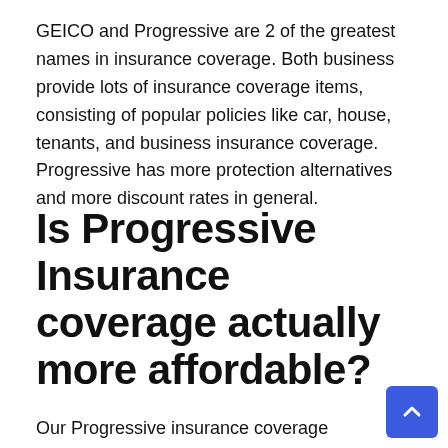GEICO and Progressive are 2 of the greatest names in insurance coverage. Both business provide lots of insurance coverage items, consisting of popular policies like car, house, tenants, and business insurance coverage. Progressive has more protection alternatives and more discount rates in general.
Is Progressive Insurance coverage actually more affordable?
Our Progressive insurance coverage evaluation